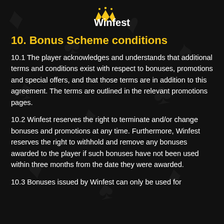[Figure (logo): Winfest logo — yellow crown/W icon with 'Winfest' wordmark in white]
10. Bonus Scheme conditions
10.1 The player acknowledges and understands that additional terms and conditions exist with respect to bonuses, promotions and special offers, and that those terms are in addition to this agreement. The terms are outlined in the relevant promotions pages.
10.2 Winfest reserves the right to terminate and/or change bonuses and promotions at any time. Furthermore, Winfest reserves the right to withhold and remove any bonuses awarded to the player if such bonuses have not been used within three months from the date they were awarded.
10.3 Bonuses issued by Winfest can only be used for